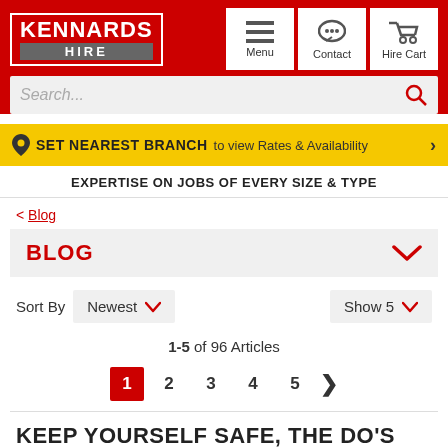[Figure (logo): Kennards Hire logo - white text on red background with grey HIRE bar]
Menu | Contact | Hire Cart
Search...
SET NEAREST BRANCH to view Rates & Availability
EXPERTISE ON JOBS OF EVERY SIZE & TYPE
< Blog
BLOG
Sort By Newest | Show 5
1-5 of 96 Articles
1 2 3 4 5 >
KEEP YOURSELF SAFE, THE DO'S AND